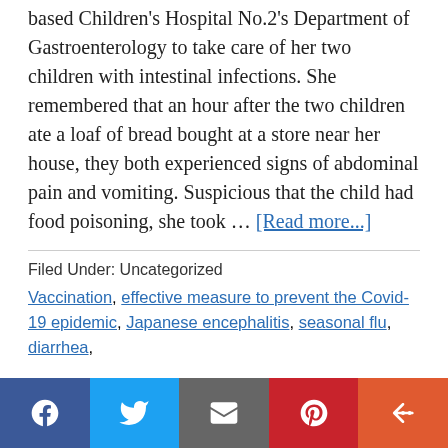based Children's Hospital No.2's Department of Gastroenterology to take care of her two children with intestinal infections. She remembered that an hour after the two children ate a loaf of bread bought at a store near her house, they both experienced signs of abdominal pain and vomiting. Suspicious that the child had food poisoning, she took … [Read more...]
Filed Under: Uncategorized
Vaccination, effective measure to prevent the Covid-19 epidemic, Japanese encephalitis, seasonal flu, diarrhea,